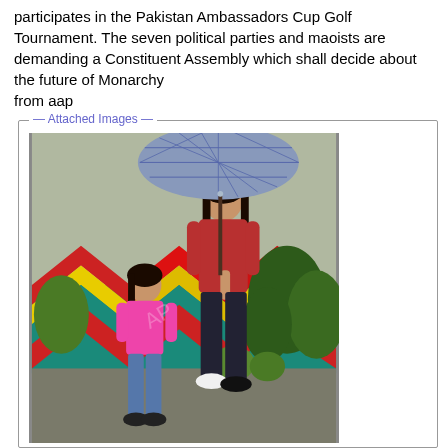participates in the Pakistan Ambassadors Cup Golf Tournament. The seven political parties and maoists are demanding a Constituent Assembly which shall decide about the future of Monarchy
from aap
Attached Images
[Figure (photo): A woman in a red jacket holding a large plaid umbrella stands with a young girl in a pink jacket and jeans. They are walking in a garden area with colorful chevron-patterned walls in the background.]